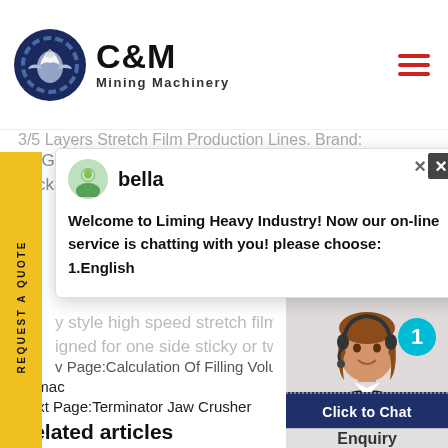[Figure (logo): C&M Mining Machinery logo with eagle-gear emblem in dark blue circle, company name in bold black text]
3/5 Layers Stretch Film Production Lines. Brand: LANGLONG MACHINE Packaging: pearl wool with package & wooden motherboard. Supply Ability:
[Figure (screenshot): Chat popup with avatar of bella, message: Welcome to Liming Heavy Industry! Now our on-line service is chatting with you! please choose: 1.English]
y style high speed stretch film m
igned for one side sticky or two
v Page:Calculation Of Filling Volu
Samac
Next Page:Terminator Jaw Crusher
Related articles
Enquiry